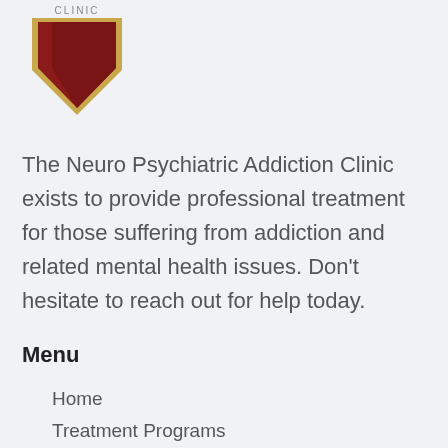[Figure (logo): Neuro Psychiatric Addiction Clinic logo — a downward-pointing chevron/shield shape in dark red/maroon with a gold border and 'Clinic' text at the top]
The Neuro Psychiatric Addiction Clinic exists to provide professional treatment for those suffering from addiction and related mental health issues. Don't hesitate to reach out for help today.
Menu
Home
Treatment Programs
Inpatient Medical Detoxification
Admissions
About Us